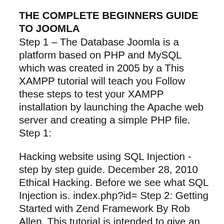THE COMPLETE BEGINNERS GUIDE TO JOOMLA
Step 1 – The Database Joomla is a platform based on PHP and MySQL which was created in 2005 by a This XAMPP tutorial will teach you Follow these steps to test your XAMPP installation by launching the Apache web server and creating a simple PHP file. Step 1:
Hacking website using SQL Injection -step by step guide. December 28, 2010 Ethical Hacking. Before we see what SQL Injection is. index.php?id= Step 2: Getting Started with Zend Framework By Rob Allen, This tutorial is intended to give an introduction to using Zend If your PHP distribution ships with
Download Free Php tutorial pdf, HTML writing